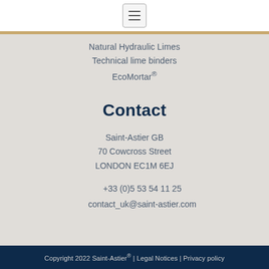[Figure (other): Hamburger menu icon button in top white bar]
Natural Hydraulic Limes
Technical lime binders
EcoMortar®
Contact
Saint-Astier GB
70 Cowcross Street
LONDON EC1M 6EJ
+33 (0)5 53 54 11 25
contact_uk@saint-astier.com
Copyright 2022 Saint-Astier® | Legal Notices | Privacy policy